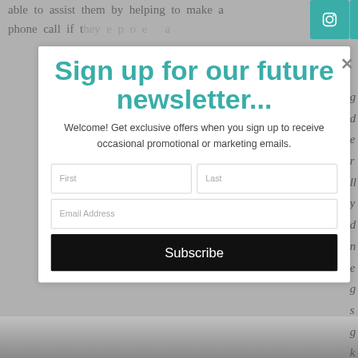able to assist them by helping to make a phone call if they...
[Figure (screenshot): Social media icons row: Instagram, Facebook, Twitter, Pinterest, Houzz - teal/green square icons]
Sign up for our future newsletter...
Welcome! Get exclusive offers when you sign up to receive occasional promotional or marketing emails.
First | Last (form fields)
Email Address (form field)
Subscribe (button)
[Figure (photo): Partial photo of a body of water / seascape at the bottom of the page]